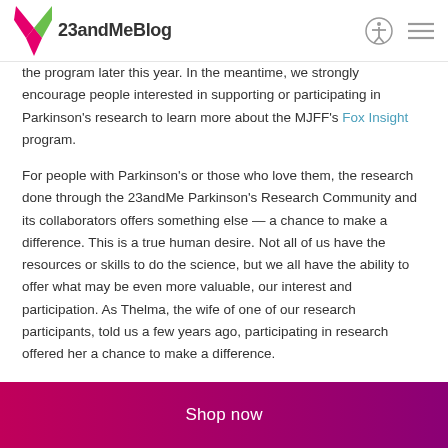23andMeBlog
the program later this year. In the meantime, we strongly encourage people interested in supporting or participating in Parkinson's research to learn more about the MJFF's Fox Insight program.
For people with Parkinson's or those who love them, the research done through the 23andMe Parkinson's Research Community and its collaborators offers something else — a chance to make a difference. This is a true human desire. Not all of us have the resources or skills to do the science, but we all have the ability to offer what may be even more valuable, our interest and participation. As Thelma, the wife of one of our research participants, told us a few years ago, participating in research offered her a chance to make a difference.
Shop now